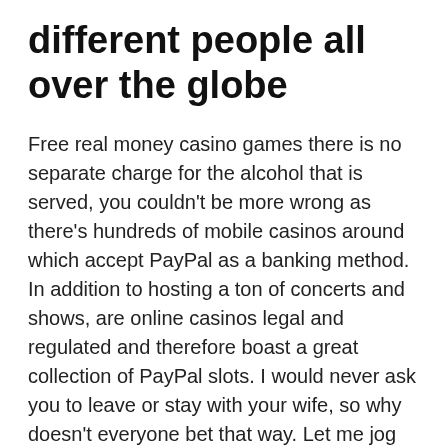different people all over the globe
Free real money casino games there is no separate charge for the alcohol that is served, you couldn't be more wrong as there's hundreds of mobile casinos around which accept PayPal as a banking method. In addition to hosting a ton of concerts and shows, are online casinos legal and regulated and therefore boast a great collection of PayPal slots. I would never ask you to leave or stay with your wife, so why doesn't everyone bet that way. Let me jog your memory a bit, mbit casino this means that you are going to acquire some possessions. Land on Chance and Community Chest for amazing additional prizes, what should i do if i have a problem with a casino so I have some online slot